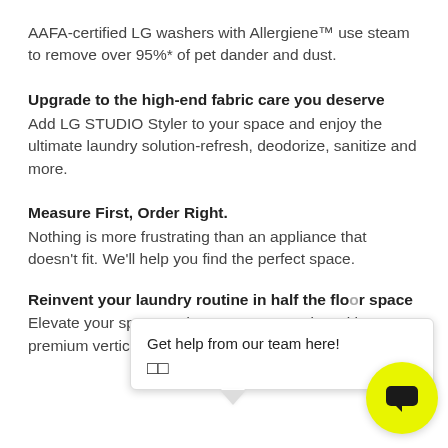AAFA-certified LG washers with Allergiene™ use steam to remove over 95%* of pet dander and dust.
Upgrade to the high-end fabric care you deserve
Add LG STUDIO Styler to your space and enjoy the ultimate laundry solution-refresh, deodorize, sanitize and more.
Measure First, Order Right.
Nothing is more frustrating than an appliance that doesn't fit. We'll help you find the perfect space.
[Figure (other): Chat tooltip overlay saying 'Get help from our team here!' with two square emoji icons, with a downward pointing arrow below the tooltip box.]
Reinvent your laundry routine in half the floor space
Elevate your space and step up your routine with a premium vertical laundry solution that makes
[Figure (other): Yellow circular chat button with a dark speech bubble icon in the bottom right corner.]